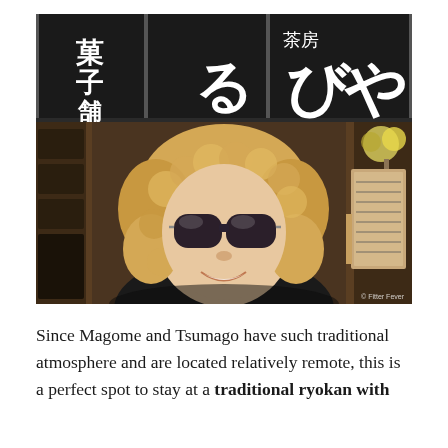[Figure (photo): A woman with curly blonde hair and large dark sunglasses smiling in front of a traditional Japanese shop entrance with dark noren curtains bearing Japanese characters (菓子舗, 茶房, る, び, や). There are wooden architectural details and a small floral arrangement visible. A watermark '© Fitter Fever' appears in the lower right corner.]
Since Magome and Tsumago have such traditional atmosphere and are located relatively remote, this is a perfect spot to stay at a traditional ryokan with